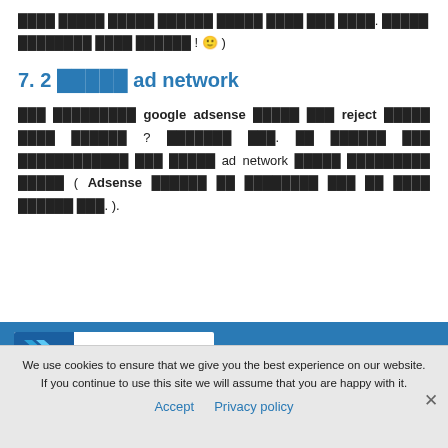████ █████ █████ ██████ █████ ████ ███ ████. █████ ████████ ████ ██████ ! 🙂 )
7. 2 █████ ad network
███ █████████ google adsense █████ ███ reject █████ ████ ██████ ? ███████ ███. ██ ██████ ███ ████████████ ███ █████ ad network █████ █████████ █████ ( Adsense ██████ ██ ████████ ███ ██ ████ ██████ ███. ).
[Figure (logo): ylliX Inc. logo - blue chevron/arrow mark with 'ylliX Inc. we do it differently!' text]
Yllix
We use cookies to ensure that we give you the best experience on our website. If you continue to use this site we will assume that you are happy with it.
Accept  Privacy policy